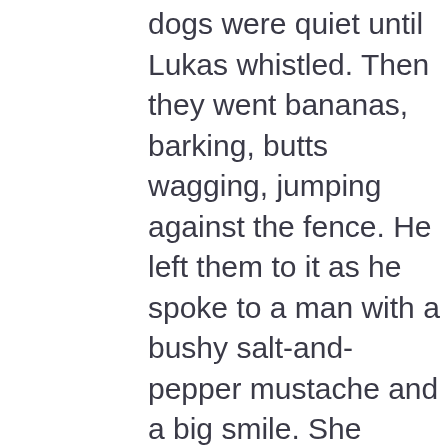dogs were quiet until Lukas whistled. Then they went bananas, barking, butts wagging, jumping against the fence. He left them to it as he spoke to a man with a bushy salt-and-pepper mustache and a big smile. She didn't know what they talked about because they did it in Russian.

Once they were alone again, Lukas spoke one sharp word, still in Russian, and the dogs settled immediately. Then their